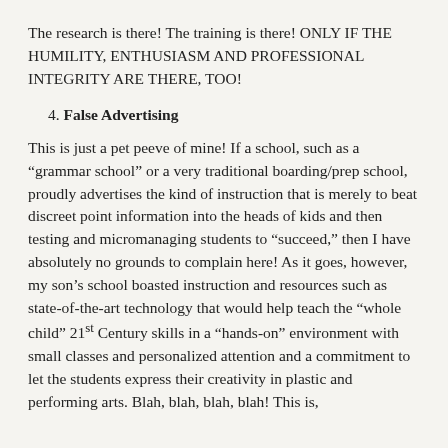The research is there! The training is there! ONLY IF THE HUMILITY, ENTHUSIASM AND PROFESSIONAL INTEGRITY ARE THERE, TOO!
4. False Advertising
This is just a pet peeve of mine! If a school, such as a “grammar school” or a very traditional boarding/prep school, proudly advertises the kind of instruction that is merely to beat discreet point information into the heads of kids and then testing and micromanaging students to “succeed,” then I have absolutely no grounds to complain here! As it goes, however, my son’s school boasted instruction and resources such as state-of-the-art technology that would help teach the “whole child” 21st Century skills in a “hands-on” environment with small classes and personalized attention and a commitment to let the students express their creativity in plastic and performing arts. Blah, blah, blah, blah! This is, indeed, the manifesto of other schools, too!